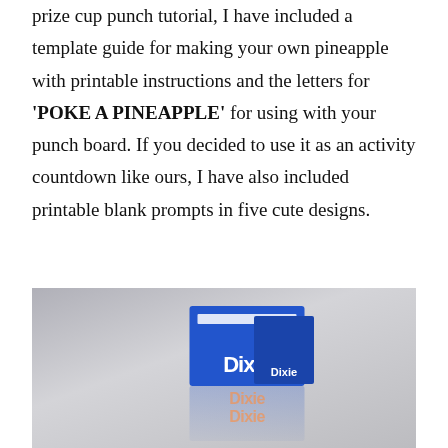prize cup punch tutorial, I have included a template guide for making your own pineapple with printable instructions and the letters for 'POKE A PINEAPPLE' for using with your punch board. If you decided to use it as an activity countdown like ours, I have also included printable blank prompts in five cute designs.
[Figure (photo): A blue Dixie cup box photographed against a light grey background, with a reflection of the box visible below it.]